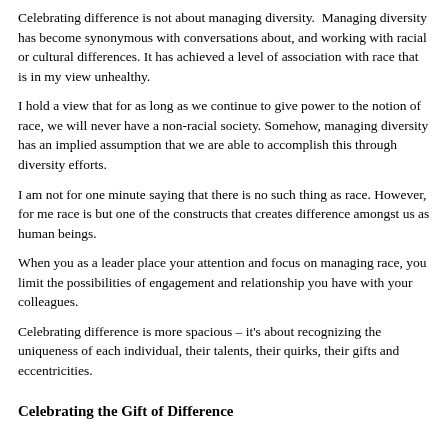Celebrating difference is not about managing diversity.  Managing diversity has become synonymous with conversations about, and working with racial or cultural differences. It has achieved a level of association with race that is in my view unhealthy.
I hold a view that for as long as we continue to give power to the notion of race, we will never have a non-racial society. Somehow, managing diversity has an implied assumption that we are able to accomplish this through diversity efforts.
I am not for one minute saying that there is no such thing as race. However, for me race is but one of the constructs that creates difference amongst us as human beings.
When you as a leader place your attention and focus on managing race, you limit the possibilities of engagement and relationship you have with your colleagues.
Celebrating difference is more spacious – it's about recognizing the uniqueness of each individual, their talents, their quirks, their gifts and eccentricities.
Celebrating the Gift of Difference